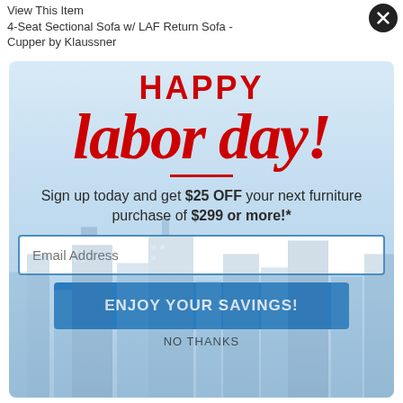View This Item
4-Seat Sectional Sofa w/ LAF Return Sofa - Cupper by Klaussner
[Figure (infographic): Happy Labor Day promotional modal popup with light blue city skyline background. Contains bold red 'HAPPY labor day!' text, offer text, email input field, savings button and no thanks link.]